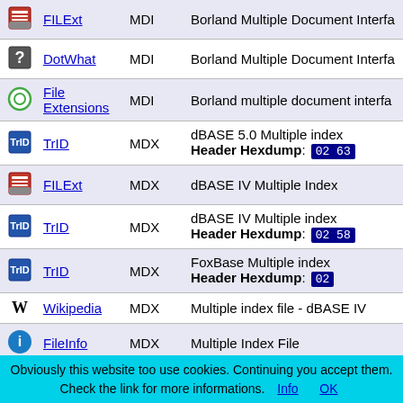| Icon | Source | Extension | Description |
| --- | --- | --- | --- |
| [FILExt icon] | FILExt | MDI | Borland Multiple Document Interfa… |
| [DotWhat icon] | DotWhat | MDI | Borland Multiple Document Interfa… |
| [FileExtensions icon] | File Extensions | MDI | Borland multiple document interfa… |
| [TrID icon] | TrID | MDX | dBASE 5.0 Multiple index Header Hexdump: 02 63 |
| [FILExt icon] | FILExt | MDX | dBASE IV Multiple Index |
| [TrID icon] | TrID | MDX | dBASE IV Multiple index Header Hexdump: 02 58 |
| [TrID icon] | TrID | MDX | FoxBase Multiple index Header Hexdump: 02 |
| [Wikipedia icon] | Wikipedia | MDX | Multiple index file - dBASE IV |
| [FileInfo icon] | FileInfo | MDX | Multiple Index File |
| [FILExt icon] | FILExt | MEMO | Unknown Found in Multiple GNU/… |
Obviously this website too use cookies. Continuing you accept them. Check the link for more informations. Info OK